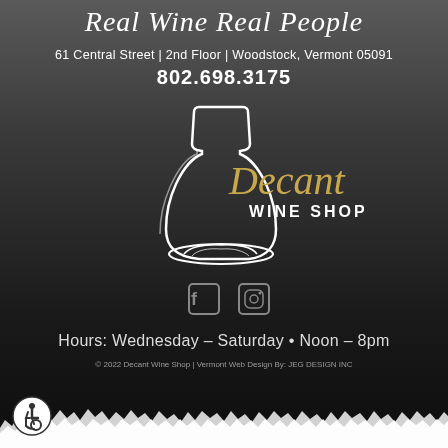Real Wine Real People
61 Central Street | 2nd Floor | Woodstock, Vermont 05091
802.698.3175
[Figure (logo): Decant Wine Shop logo — a white line-art decanter with the word 'Decant' in gold italic script and 'WINE SHOP' in white serif below]
[Figure (infographic): Two small social media icon squares (Facebook and Instagram)]
Hours: Wednesday – Saturday • Noon – 8pm
© 2022 Decant Wine Shop | Vermont Web Design By: JEG DESIGN INC